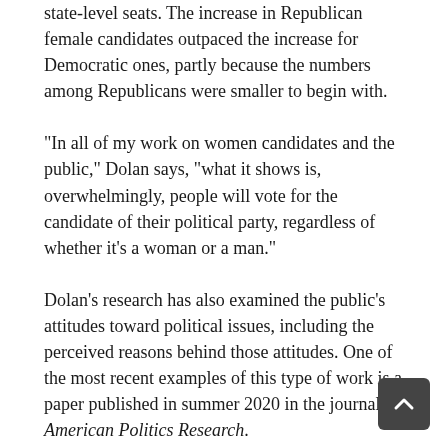state-level seats. The increase in Republican female candidates outpaced the increase for Democratic ones, partly because the numbers among Republicans were smaller to begin with.
“In all of my work on women candidates and the public,” Dolan says, “what it shows is, overwhelmingly, people will vote for the candidate of their political party, regardless of whether it’s a woman or a man.”
Dolan’s research has also examined the public's attitudes toward political issues, including the perceived reasons behind those attitudes. One of the most recent examples of this type of work is a paper published in summer 2020 in the journal American Politics Research.
Dolan and Michael A. Hansen, an assistant professor at the University of Wisconsin-Parkside, examined data from a survey called the American National Election Study. They